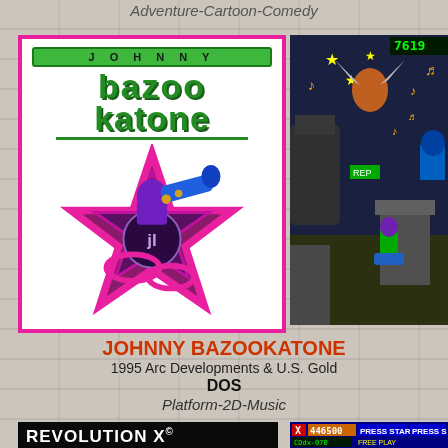Adventure-Cartoon-Comedy
[Figure (photo): Johnny Bazookatone game cover with pink border, showing the game logo in green and a character holding a bazooka-style instrument on a purple star shape]
[Figure (screenshot): Johnny Bazookatone DOS game screenshot showing gameplay with character and enemies]
JOHNNY BAZOOKATONE
1995 Arc Developments & U.S. Gold
DOS
Platform-2D-Music
[Figure (photo): Revolution X featuring Aerosmith game cover/logo on black background]
[Figure (screenshot): Revolution X arcade game screenshot showing HUD with score 446500, PRESS START text, and gameplay scene]